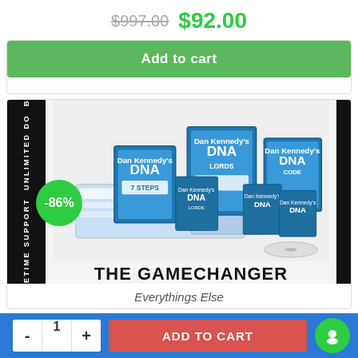$997.00  $92.00
Add to cart
[Figure (photo): Product bundle photo showing Dan Kennedy's DNA marketing course set, with multiple books, DVDs, and materials displayed. A green badge shows -86% discount. The text 'THE GAMECHANGER' appears at the bottom. The sidebar reads 'LIFETIME SUPPORT BOX UNLIMITED DO'. Category label 'Everythings Else' appears below.]
Everythings Else
- 1 + ADD TO CART